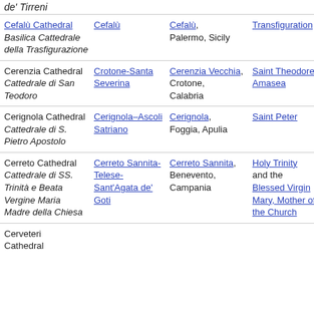de' Tirreni
| Cathedral | Diocese | Location | Dedication |  |
| --- | --- | --- | --- | --- |
| Cefalù Cathedral Basilica Cattedrale della Trasfigurazione | Cefalù | Cefalù, Palermo, Sicily | Transfiguration | ca in m |
| Cerenzia Cathedral Cattedrale di San Teodoro | Crotone-Santa Severina | Cerenzia Vecchia, Crotone, Calabria | Saint Theodore of Amasea | fo ca |
| Cerignola Cathedral Cattedrale di S. Pietro Apostolo | Cerignola–Ascoli Satriano | Cerignola, Foggia, Apulia | Saint Peter | ca m |
| Cerreto Cathedral Cattedrale di SS. Trinità e Beata Vergine Maria Madre della Chiesa | Cerreto Sannita-Telese-Sant'Agata de' Goti | Cerreto Sannita, Benevento, Campania | Holy Trinity and the Blessed Virgin Mary, Mother of the Church | ca |
| Cerveteri Cathedral |  |  |  | fo |